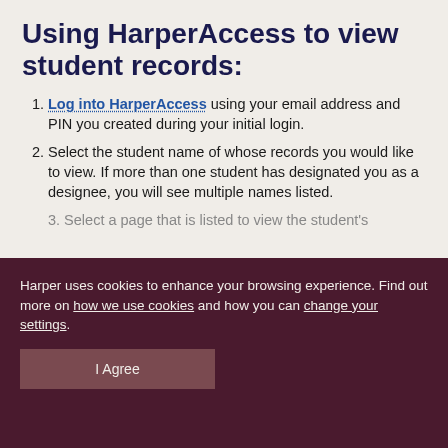Using HarperAccess to view student records:
Log into HarperAccess using your email address and PIN you created during your initial login.
Select the student name of whose records you would like to view. If more than one student has designated you as a designee, you will see multiple names listed.
Select a page that is listed to view the student's
Harper uses cookies to enhance your browsing experience. Find out more on how we use cookies and how you can change your settings.
I Agree